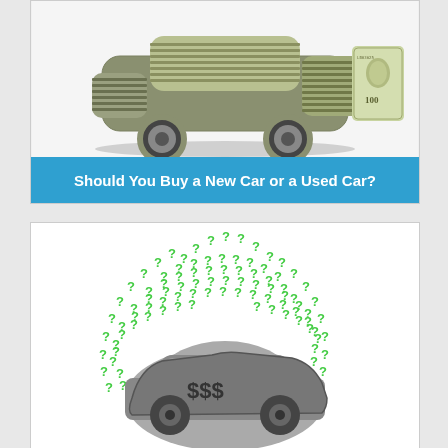[Figure (illustration): A car shape made out of rolled US dollar bills ($100 bills), forming the body and wheels of a car on a white background.]
Should You Buy a New Car or a Used Car?
[Figure (illustration): A grey car silhouette with '$$$' text on it, surrounded by a dome/arch of green 3D question mark symbols on a white background.]